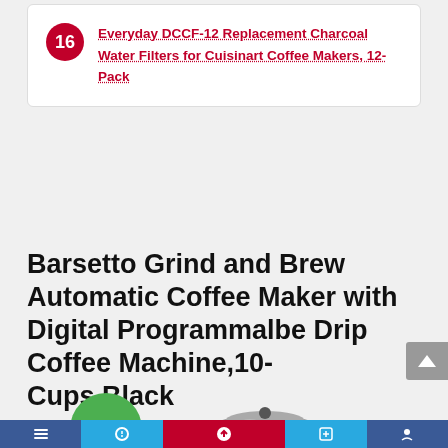16 Everyday DCCF-12 Replacement Charcoal Water Filters for Cuisinart Coffee Makers, 12-Pack
Barsetto Grind and Brew Automatic Coffee Maker with Digital Programmalbe Drip Coffee Machine,10-Cups,Black
[Figure (other): Green circle badge showing -24% discount, and a black Barsetto coffee grinder/maker machine with silver accents]